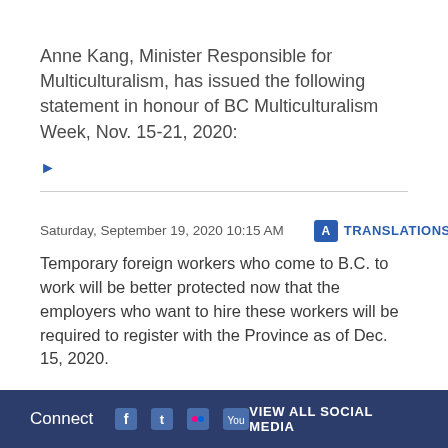Anne Kang, Minister Responsible for Multiculturalism, has issued the following statement in honour of BC Multiculturalism Week, Nov. 15-21, 2020:
▶
Saturday, September 19, 2020 10:15 AM
TRANSLATIONS
Temporary foreign workers who come to B.C. to work will be better protected now that the employers who want to hire these workers will be required to register with the Province as of Dec. 15, 2020.
Connect  VIEW ALL SOCIAL MEDIA